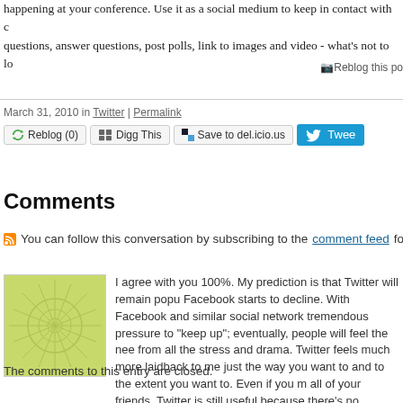happening at your conference. Use it as a social medium to keep in contact with questions, answer questions, post polls, link to images and video - what's not to lo
[Figure (screenshot): Reblog this post button/link]
March 31, 2010 in Twitter | Permalink
[Figure (screenshot): Social sharing buttons: Reblog (0), Digg This, Save to del.icio.us, Tweet]
Comments
You can follow this conversation by subscribing to the comment feed for this po
I agree with you 100%. My prediction is that Twitter will remain popu Facebook starts to decline. With Facebook and similar social network tremendous pressure to "keep up"; eventually, people will feel the nee from all the stress and drama. Twitter feels much more laidback to me just the way you want to and to the extent you want to. Even if you m all of your friends, Twitter is still useful because there's no shortage o people to follow and links to check out.
Posted by: Bryan | April 04, 2010 at 04:06 AM
The comments to this entry are closed.